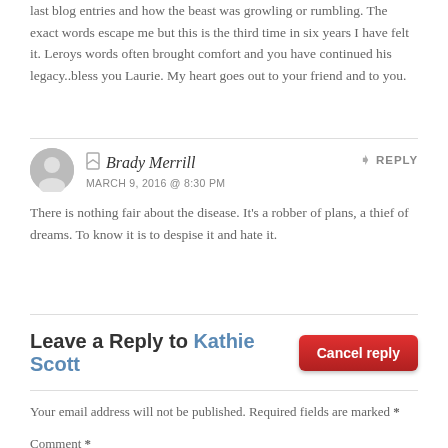last blog entries and how the beast was growling or rumbling. The exact words escape me but this is the third time in six years I have felt it. Leroys words often brought comfort and you have continued his legacy..bless you Laurie. My heart goes out to your friend and to you.
Brady Merrill
MARCH 9, 2016 @ 8:30 PM
REPLY
There is nothing fair about the disease. It’s a robber of plans, a thief of dreams. To know it is to despise it and hate it.
Leave a Reply to Kathie Scott
Your email address will not be published. Required fields are marked *
Comment *